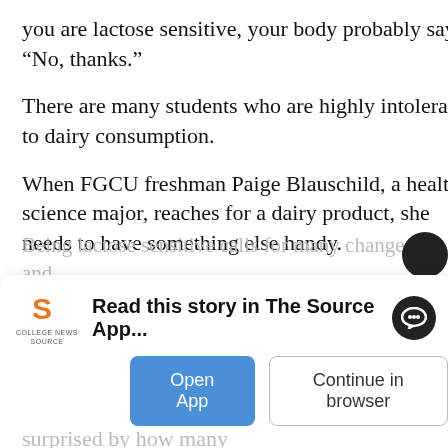you are lactose sensitive, your body probably says, “No, thanks.”
There are many students who are highly intolerant to dairy consumption.
When FGCU freshman Paige Blauschild, a health science major, reaches for a dairy product, she needs to have something else handy.
“I am able to eat any dairy products without any trouble as long as I take a Lactaid pill with the first bite of dairy,” Blauschild says. “Being lactose sensitive heavily affects my diet. I have to always be watching out for dairy. You’d be surprised by how many…”
Being lactose sensitive calls for many changes and smart ch… the food…
[Figure (screenshot): App install banner: College News Source logo with text 'Read this story in The Source App...' and a chat icon bubble on the right]
Open App   Continue in browser